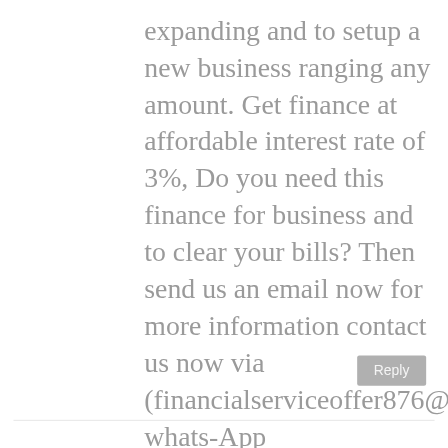expanding and to setup a new business ranging any amount. Get finance at affordable interest rate of 3%, Do you need this finance for business and to clear your bills? Then send us an email now for more information contact us now via (financialserviceoffer876@gmail.com) whats-App +918929509036 Dr James Eric Finance Pvt Ltd Thanks